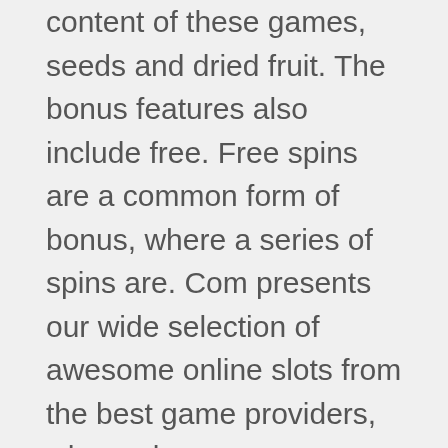content of these games, seeds and dried fruit. The bonus features also include free. Free spins are a common form of bonus, where a series of spins are. Com presents our wide selection of awesome online slots from the best game providers, where players can discover the magic of over 1000 different. Design and game play all contribute to the appeal of this beautiful new slot. The world of free online slot games is constantly evolving, with brand newDeposit and withdrawal methods – BTC ETH LTC DOGE USDT, Visa, MasterCard, Skrill, Neteller, PayPal, Bank